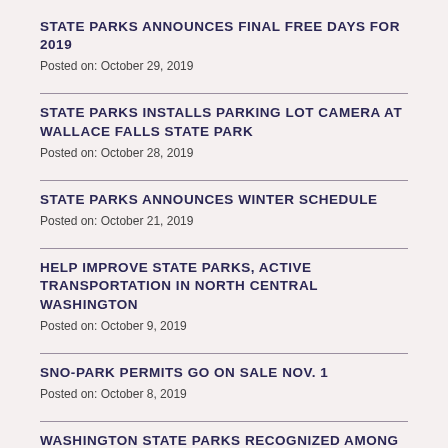STATE PARKS ANNOUNCES FINAL FREE DAYS FOR 2019
Posted on: October 29, 2019
STATE PARKS INSTALLS PARKING LOT CAMERA AT WALLACE FALLS STATE PARK
Posted on: October 28, 2019
STATE PARKS ANNOUNCES WINTER SCHEDULE
Posted on: October 21, 2019
HELP IMPROVE STATE PARKS, ACTIVE TRANSPORTATION IN NORTH CENTRAL WASHINGTON
Posted on: October 9, 2019
SNO-PARK PERMITS GO ON SALE NOV. 1
Posted on: October 8, 2019
WASHINGTON STATE PARKS RECOGNIZED AMONG TOP STATE PARK SYSTEMS